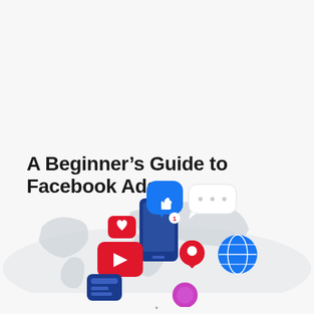A Beginner’s Guide to Facebook Ads
[Figure (illustration): Social media icons cluster (thumbs up, heart, play button, location pin, globe, message bubble, phone) floating above a world map silhouette in light gray, on a light gray background.]